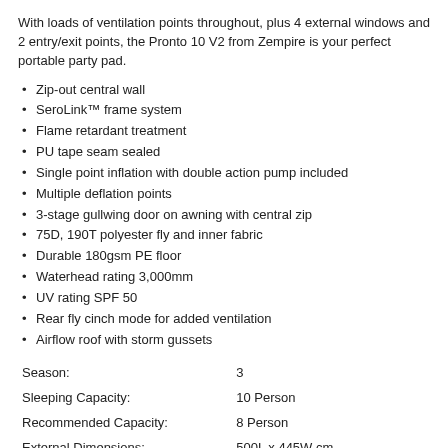With loads of ventilation points throughout, plus 4 external windows and 2 entry/exit points, the Pronto 10 V2 from Zempire is your perfect portable party pad.
Zip-out central wall
SeroLink™ frame system
Flame retardant treatment
PU tape seam sealed
Single point inflation with double action pump included
Multiple deflation points
3-stage gullwing door on awning with central zip
75D, 190T polyester fly and inner fabric
Durable 180gsm PE floor
Waterhead rating 3,000mm
UV rating SPF 50
Rear fly cinch mode for added ventilation
Airflow roof with storm gussets
| Label | Value |
| --- | --- |
| Season: | 3 |
| Sleeping Capacity: | 10 Person |
| Recommended Capacity: | 8 Person |
| External Dimensions: | 500L x 445W cm |
| Sleeping Area: | 340L x 430W cm |
| Packed Dimensions: | 70L x 45W x 45H cm |